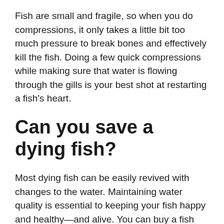Fish are small and fragile, so when you do compressions, it only takes a little bit too much pressure to break bones and effectively kill the fish. Doing a few quick compressions while making sure that water is flowing through the gills is your best shot at restarting a fish's heart.
Can you save a dying fish?
Most dying fish can be easily revived with changes to the water. Maintaining water quality is essential to keeping your fish happy and healthy—and alive. You can buy a fish tank water testing kit at most pet stores. These tests can help you identify any problems with the water, such as high